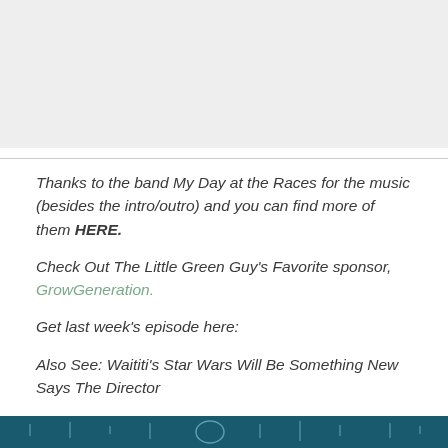[Figure (photo): Light gray rectangular image placeholder at the top of the page]
Thanks to the band My Day at the Races for the music (besides the intro/outro) and you can find more of them HERE.
Check Out The Little Green Guy's Favorite sponsor, GrowGeneration.
Get last week's episode here:
Also See: Waititi's Star Wars Will Be Something New Says The Director
[Figure (photo): Dark teal/blue banner image at the bottom of the page with light instrument silhouettes]